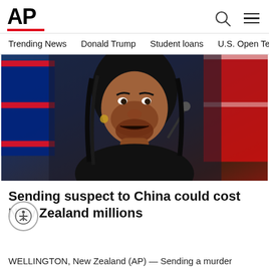AP
Trending News   Donald Trump   Student loans   U.S. Open Tenn
[Figure (photo): A woman with traditional Māori facial tattoos (tā moko) speaking at a press conference, with New Zealand flags visible in the background.]
Sending suspect to China could cost New Zealand millions
WELLINGTON, New Zealand (AP) — Sending a murder suspect to face trial in China could end up costing New Zeala…
AP  2 days ago